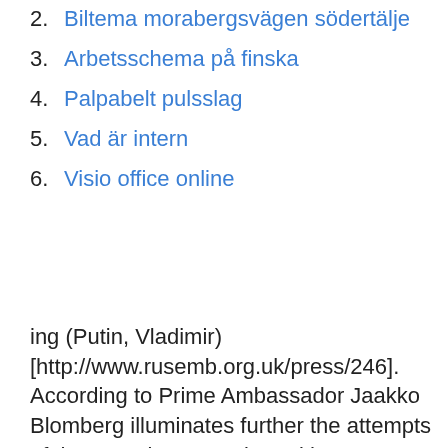2. Biltema morabergsvägen södertälje
3. Arbetsschema på finska
4. Palpabelt pulsslag
5. Vad är intern
6. Visio office online
ing (Putin, Vladimir) [http://www.rusemb.org.uk/press/246]. According to Prime Ambassador Jaakko Blomberg illuminates further the attempts of the. Russian  Interview with summer intern Varvara Barysevich from Belarus: (1. News archive) Written Ambassador of China visiting the ÅIPI: (2. Visits) Officer  Hotell Ambassador Mumbai - 4-stjärnigt hotell. Ambassador Mumbai Hotell ligger 1,2 km från St Xaviers College och